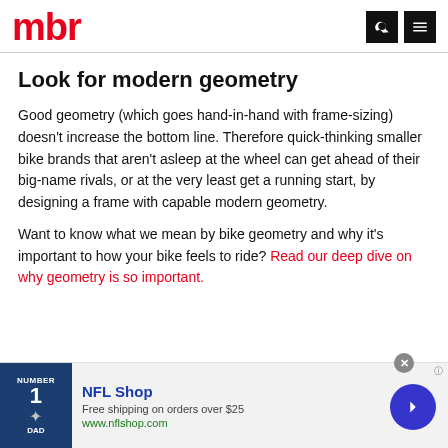mbr
Look for modern geometry
Good geometry (which goes hand-in-hand with frame-sizing) doesn't increase the bottom line. Therefore quick-thinking smaller bike brands that aren't asleep at the wheel can get ahead of their big-name rivals, or at the very least get a running start, by designing a frame with capable modern geometry.
Want to know what we mean by bike geometry and why it's important to how your bike feels to ride? Read our deep dive on why geometry is so important.
[Figure (other): NFL Shop advertisement banner with jersey image, free shipping offer, and navigation arrow button]